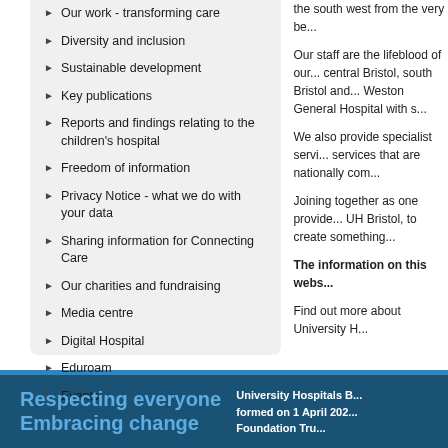Our work - transforming care
Diversity and inclusion
Sustainable development
Key publications
Reports and findings relating to the children's hospital
Freedom of information
Privacy Notice - what we do with your data
Sharing information for Connecting Care
Our charities and fundraising
Media centre
Digital Hospital
Eduroam
Events
the south west from the very be...
Our staff are the lifeblood of our... central Bristol, south Bristol and... Weston General Hospital with s...
We also provide specialist servi... services that are nationally com...
Joining together as one provide... UH Bristol, to create something...
The information on this webs...
Find out more about University H...
Respecting everyone
Embracing change
University Hospitals B... formed on 1 April 202... Foundation Tru...